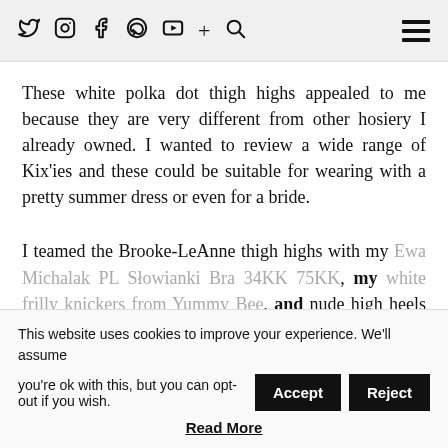Twitter Instagram Facebook Pinterest YouTube + Search [hamburger menu]
These white polka dot thigh highs appealed to me because they are very different from other hosiery I already owned. I wanted to review a wide range of Kix'ies and these could be suitable for wearing with a pretty summer dress or even for a bride.
I teamed the Brooke-LeAnne thigh highs with my Ewa Michalak PL Słowianki Bra 34KK 75KK, my white frilly knickers from Yummy Bee, and nude high heels from Internacionale.
This website uses cookies to improve your experience. We'll assume you're ok with this, but you can opt-out if you wish. Accept Reject Read More